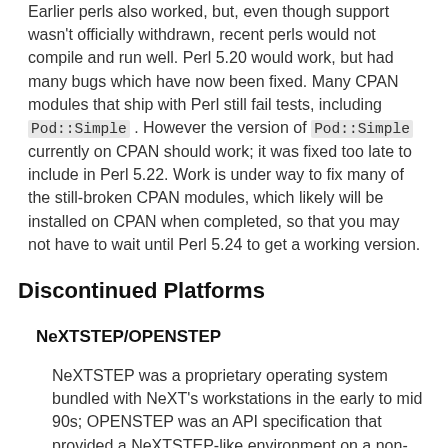Earlier perls also worked, but, even though support wasn't officially withdrawn, recent perls would not compile and run well. Perl 5.20 would work, but had many bugs which have now been fixed. Many CPAN modules that ship with Perl still fail tests, including Pod::Simple. However the version of Pod::Simple currently on CPAN should work; it was fixed too late to include in Perl 5.22. Work is under way to fix many of the still-broken CPAN modules, which likely will be installed on CPAN when completed, so that you may not have to wait until Perl 5.24 to get a working version.
Discontinued Platforms
NeXTSTEP/OPENSTEP
NeXTSTEP was a proprietary operating system bundled with NeXT's workstations in the early to mid 90s; OPENSTEP was an API specification that provided a NeXTSTEP-like environment on a non-